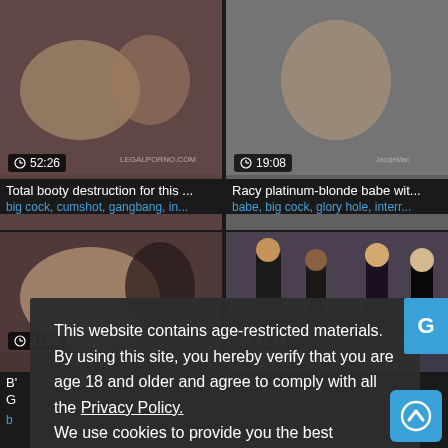[Figure (screenshot): Video thumbnail top-left with duration 52:26]
Total booty destruction for this ...
big cock, cumshot, gangbang, in...
[Figure (screenshot): Video thumbnail top-right with duration 19:08]
Racy platinum-blonde babe wit...
babe, big cock, glory hole, interr...
[Figure (screenshot): Video thumbnail bottom-left with duration 31:50]
[Figure (screenshot): Video thumbnail bottom-right with duration 51:59]
This website contains age-restricted materials. By using this site, you hereby verify that you are age 18 and older and agree to comply with all the Privacy Policy.
We use cookies to provide you the best possible experience on our website and to monitor website traffic. Cookies Policy.